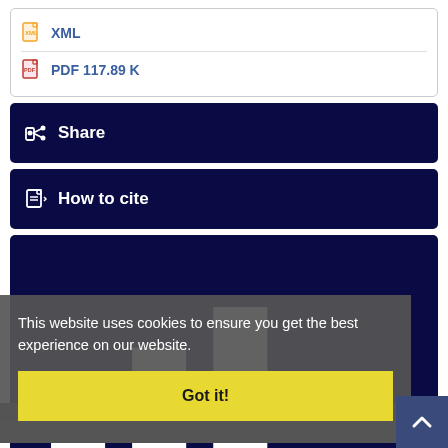XML
PDF 117.89 K
Share
How to cite
Statistics
Article View: 245
PDF Download: 282
This website uses cookies to ensure you get the best experience on our website.
Got it!